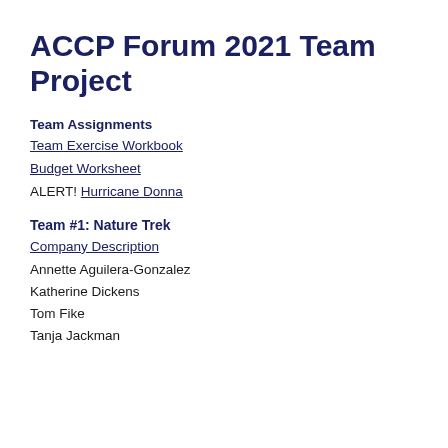ACCP Forum 2021 Team Project
Team Assignments
Team Exercise Workbook
Budget Worksheet
ALERT! Hurricane Donna
Team #1: Nature Trek
Company Description
Annette Aguilera-Gonzalez
Katherine Dickens
Tom Fike
Tanja Jackman